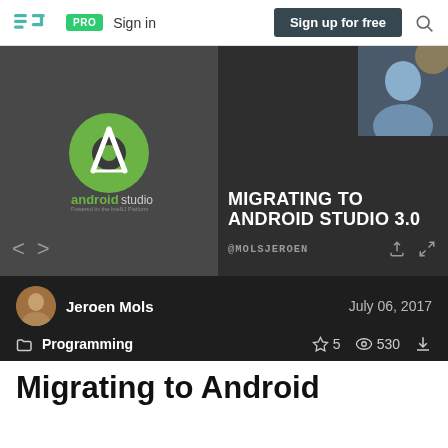Speaker Deck — PRO  Sign in  Sign up for free
[Figure (screenshot): Slide preview showing Android Studio logo on left dark panel and 'MIGRATING TO ANDROID STUDIO 3.0 @MOLSJEROEN' text on right dark panel, with a profile photo in top-right corner and navigation arrows]
Jeroen Mols   July 06, 2017
Programming   ☆ 5   👁 530   ⬇
Migrating to Android